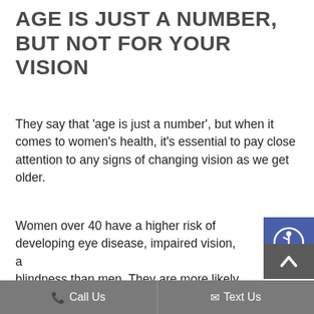AGE IS JUST A NUMBER, BUT NOT FOR YOUR VISION
They say that 'age is just a number', but when it comes to women's health, it's essential to pay close attention to any signs of changing vision as we get older.
Women over 40 have a higher risk of developing eye disease, impaired vision, and blindness than men. They are more likely to develop eye conditions such as Cataracts, Diabetic Retinopathy, and Dry Eye Syndrome. In fact, 61% of Glaucoma patients and 65% of...
[Figure (illustration): Accessibility icon button — blue square with white wheelchair user icon]
[Figure (illustration): Scroll-up button — dark grey square with white up-arrow chevron]
Call Us   Text Us